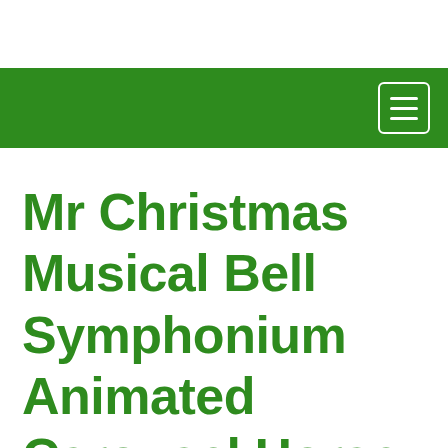[Figure (screenshot): Green navigation bar with hamburger menu icon (three horizontal lines) in the upper right corner, white border around the icon]
Mr Christmas Musical Bell Symphonium Animated Carousel Horse Plays 16 Songs